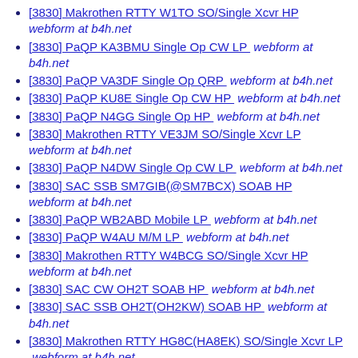[3830] Makrothen RTTY W1TO SO/Single Xcvr HP  webform at b4h.net
[3830] PaQP KA3BMU Single Op CW LP  webform at b4h.net
[3830] PaQP VA3DF Single Op QRP  webform at b4h.net
[3830] PaQP KU8E Single Op CW HP  webform at b4h.net
[3830] PaQP N4GG Single Op HP  webform at b4h.net
[3830] Makrothen RTTY VE3JM SO/Single Xcvr LP  webform at b4h.net
[3830] PaQP N4DW Single Op CW LP  webform at b4h.net
[3830] SAC SSB SM7GIB(@SM7BCX) SOAB HP  webform at b4h.net
[3830] PaQP WB2ABD Mobile LP  webform at b4h.net
[3830] PaQP W4AU M/M LP  webform at b4h.net
[3830] Makrothen RTTY W4BCG SO/Single Xcvr HP  webform at b4h.net
[3830] SAC CW OH2T SOAB HP  webform at b4h.net
[3830] SAC SSB OH2T(OH2KW) SOAB HP  webform at b4h.net
[3830] Makrothen RTTY HG8C(HA8EK) SO/Single Xcvr LP  webform at b4h.net
[3830] Makrothen RTTY GM0FGI SO/Single Xcvr HP  webform at b4h.net
[3830] NA Sprint RTTY K8UT HP  webform at b4h.net
[3830] Makrothen RTTY F5RD SO/Single Xcvr LP